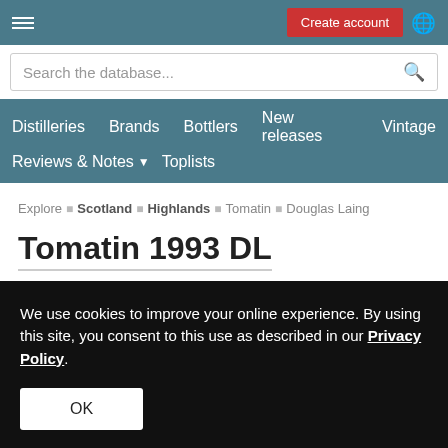Create account
Search the database...
Distilleries  Brands  Bottlers  New releases  Vintage  Reviews & Notes  Toplists
Explore  Scotland  Highlands  Tomatin  Douglas Laing
Tomatin 1993 DL
OVERALL RATING  33 VOTES
We use cookies to improve your online experience. By using this site, you consent to this use as described in our Privacy Policy.
OK